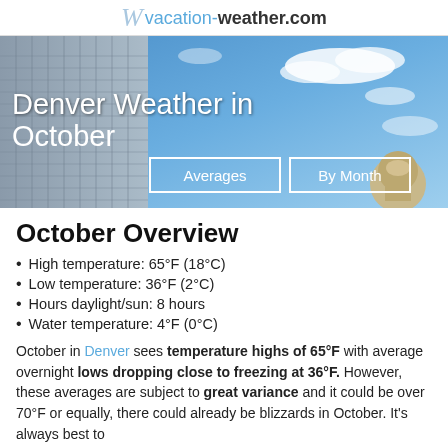vacation-weather.com
[Figure (photo): Hero banner image showing Denver cityscape with a tall office building on the left and blue sky with clouds. Text overlay: 'Denver Weather in October' with two buttons: 'Averages' and 'By Month'.]
October Overview
High temperature: 65°F (18°C)
Low temperature: 36°F (2°C)
Hours daylight/sun: 8 hours
Water temperature: 4°F (0°C)
October in Denver sees temperature highs of 65°F with average overnight lows dropping close to freezing at 36°F. However, these averages are subject to great variance and it could be over 70°F or equally, there could already be blizzards in October. It's always best to